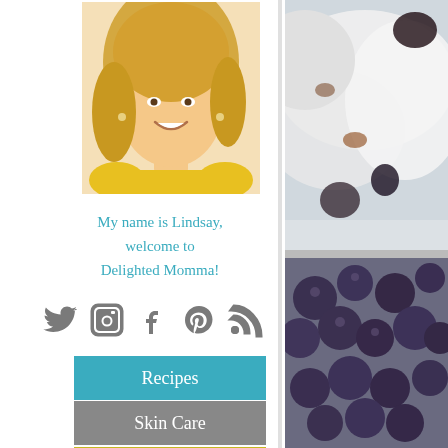[Figure (photo): Headshot of a smiling blonde woman in a yellow top]
My name is Lindsay, welcome to Delighted Momma!
[Figure (infographic): Social media icons: Twitter, Instagram, Facebook, Pinterest, RSS]
Recipes
Skin Care
DIY
[Figure (photo): Close-up food photo with whipped cream and berries]
[Figure (photo): Close-up photo of blueberries]